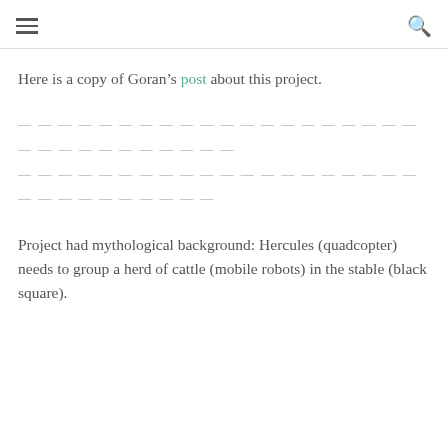≡  🔍
Here is a copy of Goran's post about this project.
— — — — — — — — — — — — — — — — — — — — — — — — — — — — — — — — — — — — — — — — — — — — — — — — —
Project had mythological background: Hercules (quadcopter) needs to group a herd of cattle (mobile robots) in the stable (black square).